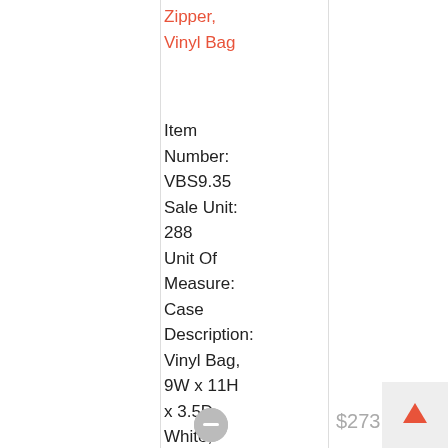Zipper, Vinyl Bag
Item Number: VBS9.35 Sale Unit: 288 Unit Of Measure: Case Description: Vinyl Bag, 9W x 11H x 3.5D, White, Zipper, 3.2 Gauge
$273.35